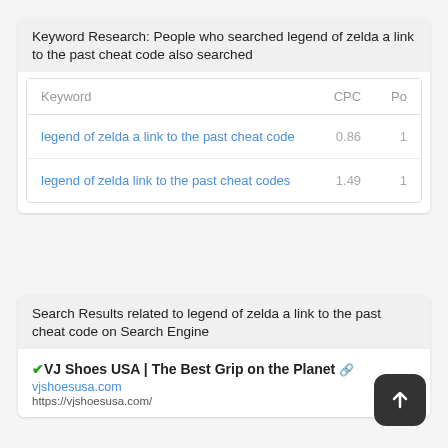Keyword Research: People who searched legend of zelda a link to the past cheat code also searched
| Keyword | CPC | Po |
| --- | --- | --- |
| legend of zelda a link to the past cheat code | 0.86 | 1 |
| legend of zelda link to the past cheat codes | 1.49 | 1 |
Search Results related to legend of zelda a link to the past cheat code on Search Engine
VJ Shoes USA | The Best Grip on the Planet
vjshoesusa.com
https://vjshoesusa.com/